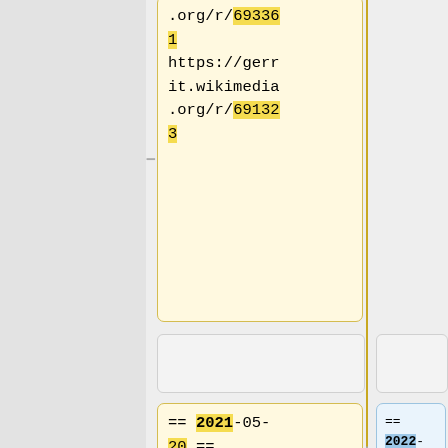.org/r/693361 https://gerrit.wikimedia.org/r/691323
== 2021-05-20 ==
== 2022-05-18 ==
* 21:36 Krinkle: Fix broken Jenkins config for console sections of selenium jobs to accomodate
* 19:31 hashar: Reloaded Zuul for https://gerrit.wikimedia.org/r/c/integration/config/+/793028